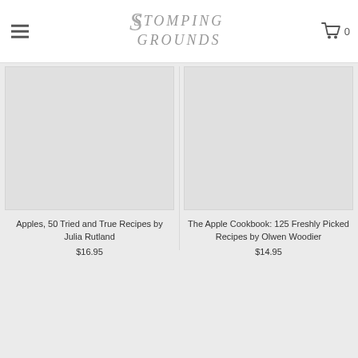Stomping Grounds
[Figure (other): Stomping Grounds logo text in stylized serif font]
[Figure (other): Shopping cart icon with count 0]
[Figure (other): Product image placeholder for Apples cookbook]
Apples, 50 Tried and True Recipes by Julia Rutland
$16.95
[Figure (other): Product image placeholder for The Apple Cookbook]
The Apple Cookbook: 125 Freshly Picked Recipes by Olwen Woodier
$14.95